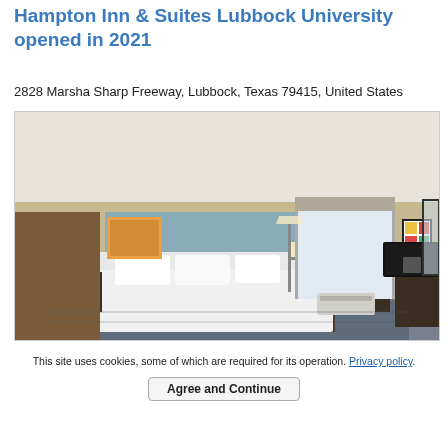Hampton Inn & Suites Lubbock University opened in 2021
2828 Marsha Sharp Freeway, Lubbock, Texas 79415, United States
[Figure (photo): Hotel room interior showing a large bed with white linens, bedside tables with lamps, wall-mounted artwork, a window with roman shade, and a dresser with TV on the right side. Blue patterned carpet on the floor.]
This site uses cookies, some of which are required for its operation. Privacy policy.
Agree and Continue